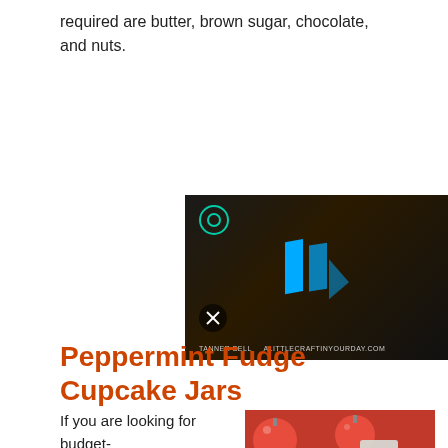required are butter, brown sugar, chocolate, and nuts.
[Figure (screenshot): Video player screenshot showing a dark scene with a person in background, blue play button icon, mute button, and text 'TANNER BELL  ALITTLECRAFTINYOURDAY.COM' at the bottom]
Peppermint Fudge Cupcake Jars
If you are looking for budget-friendly...
[Figure (photo): Photo of red ornaments and mason jars with decorative labels, Christmas themed]